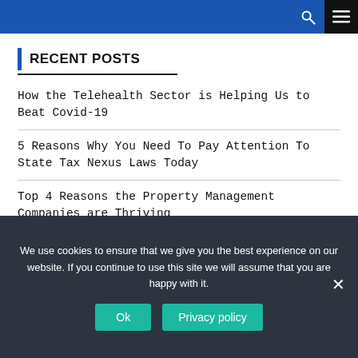RECENT POSTS
How the Telehealth Sector is Helping Us to Beat Covid-19
5 Reasons Why You Need To Pay Attention To State Tax Nexus Laws Today
Top 4 Reasons the Property Management Companies are Thriving
Tips to avoid the fake and spam followers
We use cookies to ensure that we give you the best experience on our website. If you continue to use this site we will assume that you are happy with it.